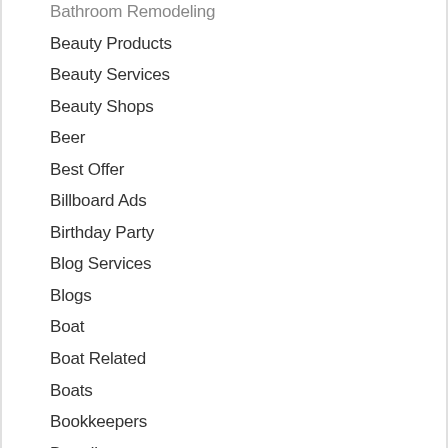Bathroom Remodeling
Beauty Products
Beauty Services
Beauty Shops
Beer
Best Offer
Billboard Ads
Birthday Party
Blog Services
Blogs
Boat
Boat Related
Boats
Bookkeepers
Branding
Breakfast